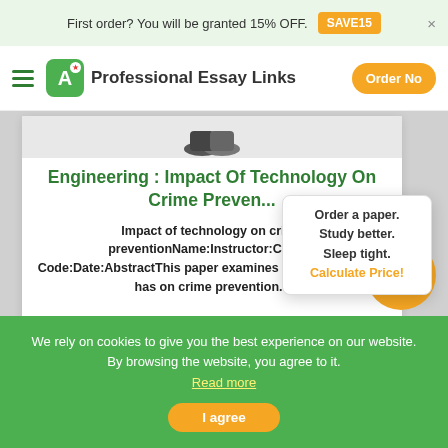First order? You will be granted 15% OFF. SAVE15
Professional Essay Links  Order No
Engineering : Impact Of Technology On Crime Preven...
Impact of technology on crime preventionName:Instructor:Course Code:Date:AbstractThis paper examines the of technology has on crime prevention...
Order a paper. Study better. Sleep tight. Calculate Price!
We rely on cookies to give you the best experience on our website. By browsing the website, you agree to it. Read more
I agree